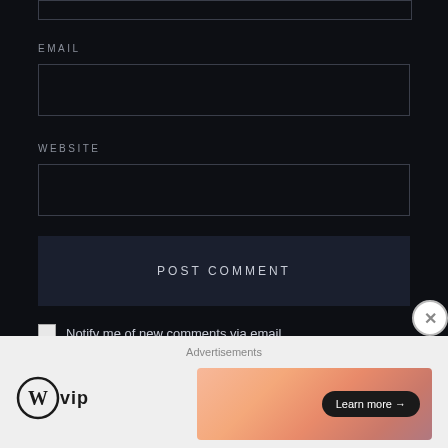[Figure (screenshot): Top portion of a form input box (cropped at top of page)]
EMAIL
[Figure (screenshot): Email text input field, empty, dark background with border]
WEBSITE
[Figure (screenshot): Website text input field, empty, dark background with border]
POST COMMENT
Notify me of new comments via email.
Notify me of new posts via email.
Advertisements
[Figure (logo): WordPress VIP logo with circular W icon and 'vip' text]
[Figure (infographic): Advertisement banner with gradient orange/pink background and 'Learn more →' button]